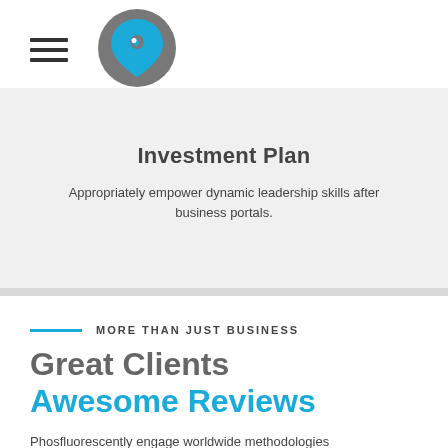[Figure (logo): Hamburger menu icon and circular logo with blue location pin and eye symbol on grey background]
Investment Plan
Appropriately empower dynamic leadership skills after business portals.
MORE THAN JUST BUSINESS
Great Clients Awesome Reviews
Phosfluorescently engage worldwide methodologies